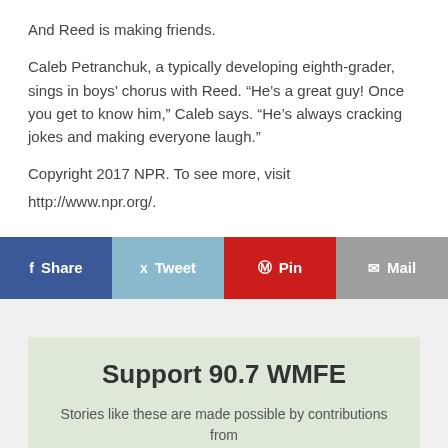And Reed is making friends.
Caleb Petranchuk, a typically developing eighth-grader, sings in boys’ chorus with Reed. “He’s a great guy! Once you get to know him,” Caleb says. “He’s always cracking jokes and making everyone laugh.”
Copyright 2017 NPR. To see more, visit
http://www.npr.org/.
[Figure (other): Social share buttons: Share (Facebook), Tweet (Twitter), Pin (Pinterest), Mail]
Support 90.7 WMFE
Stories like these are made possible by contributions from